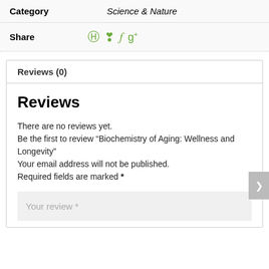| Category | Science & Nature |
| --- | --- |
Share
Reviews (0)
Reviews
There are no reviews yet.
Be the first to review “Biochemistry of Aging: Wellness and Longevity”
Your email address will not be published.
Required fields are marked *
Your review *